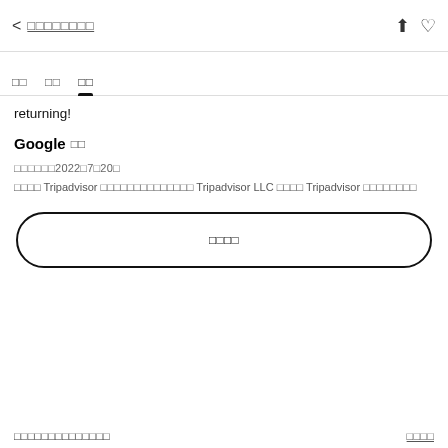< □□□□□□□□
□□  □□  □□
returning!
Google □□
□□□□□□2022□7□20□
□□□□ Tripadvisor □□□□□□□□□□□□□□ Tripadvisor LLC □□□□ Tripadvisor □□□□□□□□□
□□□□
□□□□□□□□□□□□□□□□□□
□□□□